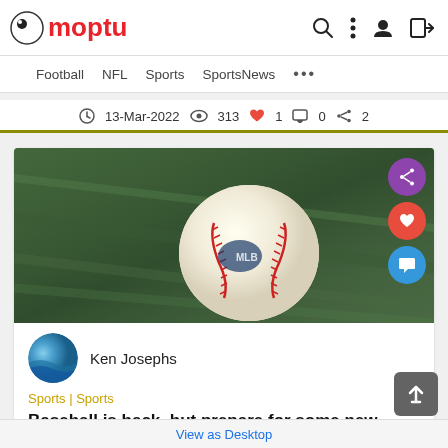Moptu
Football  NFL  Sports  SportsNews  ...
13-Mar-2022  313  1  0  2
[Figure (photo): A baseball resting on green grass with share, like, and comment action buttons overlaid on the right side]
Ken Josephs
Sports | Sports
Baseball is back, but prepare for some new rules
View as Desktop